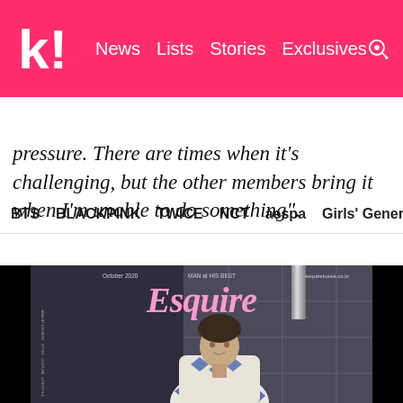k! News  Lists  Stories  Exclusives
BTS  BLACKPINK  TWICE  NCT  aespa  Girls' Generation
pressure. There are times when it's challenging, but the other members bring it when I'm unable to do something".
[Figure (photo): Esquire Korea magazine cover from October 2020 featuring a male K-pop idol wearing a white and blue patterned knit sweater, standing in front of a tiled wall. The magazine title 'Esquire' appears in pink serif italic font at the top.]